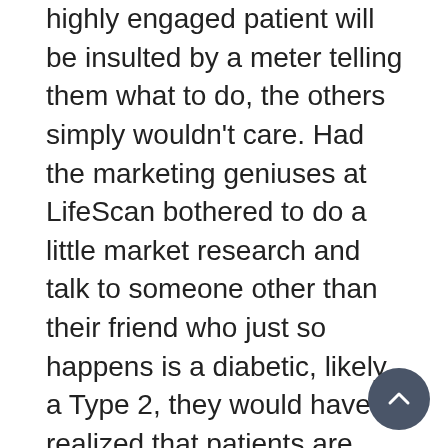highly engaged patient will be insulted by a meter telling them what to do, the others simply wouldn't care. Had the marketing geniuses at LifeScan bothered to do a little market research and talk to someone other than their friend who just so happens is a diabetic, likely a Type 2, they would have realized that patients are bombarded by negative messages and constant positive reinforcement works better.

Yet then again these geniuses likely